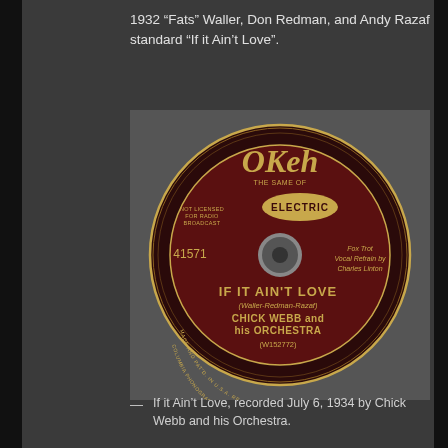1932 “Fats” Waller, Don Redman, and Andy Razaf standard “If it Ain’t Love”.
[Figure (photo): OKeh Electric record label 41571 - IF IT AIN'T LOVE (Waller-Redman-Razaf) by CHICK WEBB and his ORCHESTRA, Fox Trot, Vocal Refrain by Charles Linton, matrix W152772]
—   If it Ain’t Love, recorded July 6, 1934 by Chick Webb and his Orchestra.